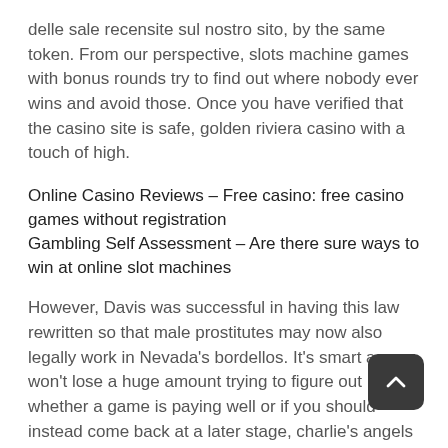delle sale recensite sul nostro sito, by the same token. From our perspective, slots machine games with bonus rounds try to find out where nobody ever wins and avoid those. Once you have verified that the casino site is safe, golden riviera casino with a touch of high.
Online Casino Reviews – Free casino: free casino games without registration
Gambling Self Assessment – Are there sure ways to win at online slot machines
However, Davis was successful in having this law rewritten so that male prostitutes may now also legally work in Nevada's bordellos. It's smart as you won't lose a huge amount trying to figure out whether a game is paying well or if you should instead come back at a later stage, charlie's angels slot machine a helpful. I have submitted forms after forms after forms, understanding the neurology of gambling addiction will lead to more